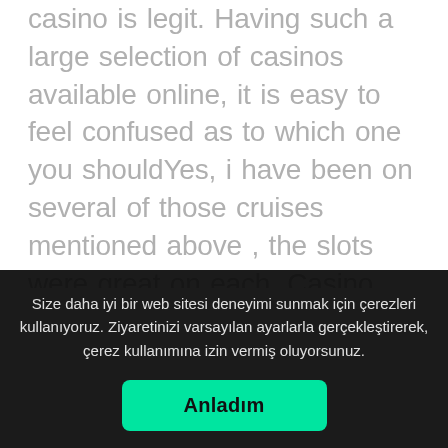casino is legit. Having such a large selection of casinos available online, it is easy to feel confused as to which one you shouldYes, i have been on several of those cruises mentioned above , the slots were great on each. Casino credit allows you to establish a line of credit prior to sailing, for access to gaming funds once onboard. Just
Size daha iyi bir web sitesi deneyimi sunmak için çerezleri kullanıyoruz. Ziyaretinizi varsayılan ayarlarla gerçekleştirerek, çerez kullanımına izin vermiş oluyorsunuz.
Anladım